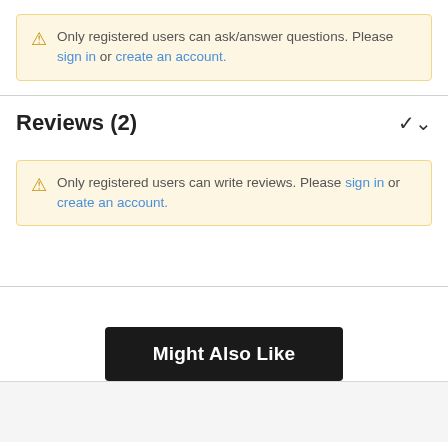Only registered users can ask/answer questions. Please sign in or create an account.
Reviews (2)
Only registered users can write reviews. Please sign in or create an account.
Might Also Like